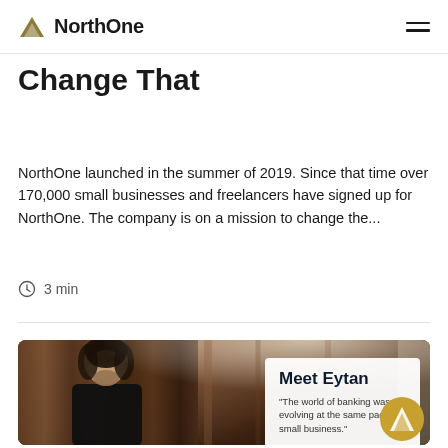NorthOne
Change That
NorthOne launched in the summer of 2019. Since that time over 170,000 small businesses and freelancers have signed up for NorthOne. The company is on a mission to change the...
3 min
[Figure (photo): Photo of a man with dark hair and beard wearing a black jacket, with a white overlay card reading 'Meet Eytan' and quote 'The world of banking wasn't evolving at the same pace as small business.' A gold NorthOne logo button appears in the bottom right corner.]